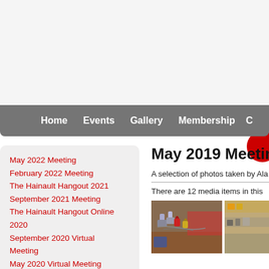Home  Events  Gallery  Membership  C
May 2022 Meeting
February 2022 Meeting
The Hainault Hangout 2021
September 2021 Meeting
The Hainault Hangout Online 2020
September 2020 Virtual Meeting
May 2020 Virtual Meeting
February 2020 Meeting
The Hainault Hangout 2019
September 2019 Meeting
May 2019 Meeting
A selection of photos taken by Ala
There are 12 media items in this
[Figure (photo): Two photos of padlocks and metal puzzle/lock mechanisms on a table at a meeting.]